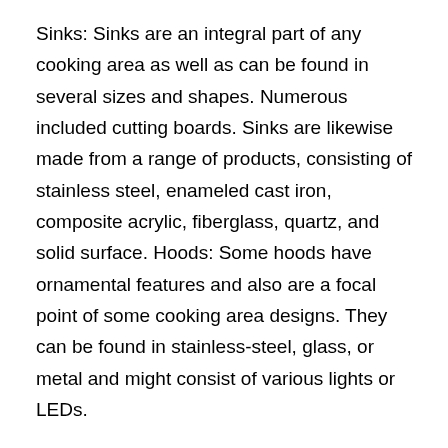Sinks: Sinks are an integral part of any cooking area as well as can be found in several sizes and shapes. Numerous included cutting boards. Sinks are likewise made from a range of products, consisting of stainless steel, enameled cast iron, composite acrylic, fiberglass, quartz, and solid surface. Hoods: Some hoods have ornamental features and also are a focal point of some cooking area designs. They can be found in stainless-steel, glass, or metal and might consist of various lights or LEDs.
Microwave: A microwave is just one of one of the most beneficial house devices. Not only can it warm leftovers, it is also a wonderful tool for defrosting meat or immediate popcorn. And also compared to other cooking devices, a microwave door is awesome